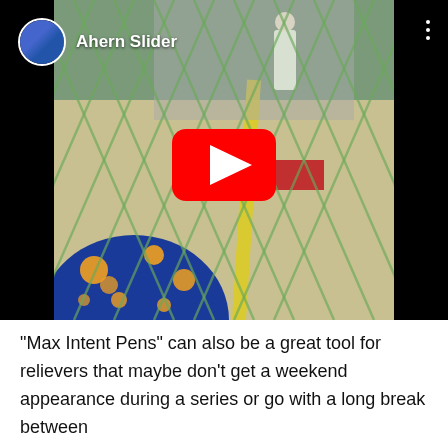[Figure (screenshot): YouTube video thumbnail showing a baseball/softball scene viewed through a chain-link fence. Channel name 'Ahern Slider' with avatar in top-left, three-dot menu in top-right, red YouTube play button in center. A player is visible on the field, and a spectator in blue and yellow patterned clothing is seen from behind in the foreground.]
“Max Intent Pens” can also be a great tool for relievers that maybe don’t get a weekend appearance during a series or go with a long break between